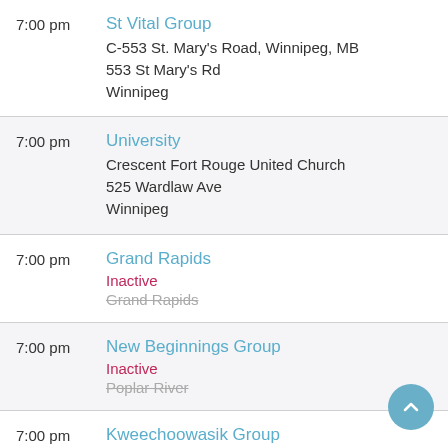7:00 pm | St Vital Group | C-553 St. Mary's Road, Winnipeg, MB | 553 St Mary's Rd | Winnipeg
7:00 pm | University | Crescent Fort Rouge United Church | 525 Wardlaw Ave | Winnipeg
7:00 pm | Grand Rapids | Inactive | Grand Rapids
7:00 pm | New Beginnings Group | Inactive | Poplar River
7:00 pm | Kweechoowasik Group | Inactive